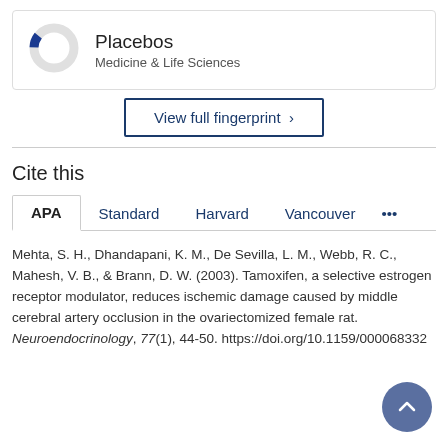[Figure (donut-chart): Small donut chart showing a small dark blue segment (Placebos) against a light gray background, representing a partial proportion in Medicine & Life Sciences fingerprint.]
Placebos
Medicine & Life Sciences
View full fingerprint >
Cite this
APA   Standard   Harvard   Vancouver   ...
Mehta, S. H., Dhandapani, K. M., De Sevilla, L. M., Webb, R. C., Mahesh, V. B., & Brann, D. W. (2003). Tamoxifen, a selective estrogen receptor modulator, reduces ischemic damage caused by middle cerebral artery occlusion in the ovariectomized female rat. Neuroendocrinology, 77(1), 44-50. https://doi.org/10.1159/000068332